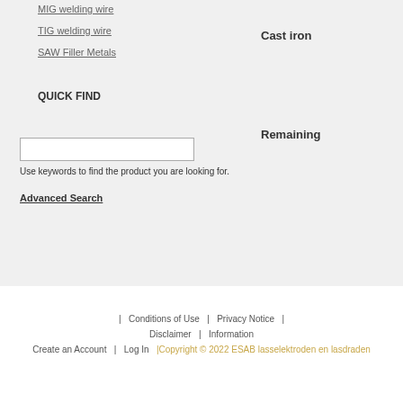MIG welding wire
TIG welding wire
SAW Filler Metals
Cast iron
QUICK FIND
Remaining
Use keywords to find the product you are looking for.
Advanced Search
| Conditions of Use | Privacy Notice | Disclaimer | Information Create an Account | Log In |Copyright © 2022 ESAB lasselektroden en lasdraden